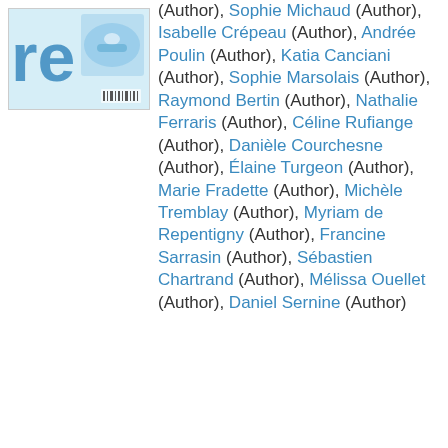[Figure (illustration): Partial book cover showing blue/white imagery with letters 're' visible]
(Author), Sophie Michaud (Author), Isabelle Crépeau (Author), Andrée Poulin (Author), Katia Canciani (Author), Sophie Marsolais (Author), Raymond Bertin (Author), Nathalie Ferraris (Author), Céline Rufiange (Author), Danièle Courchesne (Author), Élaine Turgeon (Author), Marie Fradette (Author), Michèle Tremblay (Author), Myriam de Repentigny (Author), Francine Sarrasin (Author), Sébastien Chartrand (Author), Mélissa Ouellet (Author), Daniel Sernine (Author)